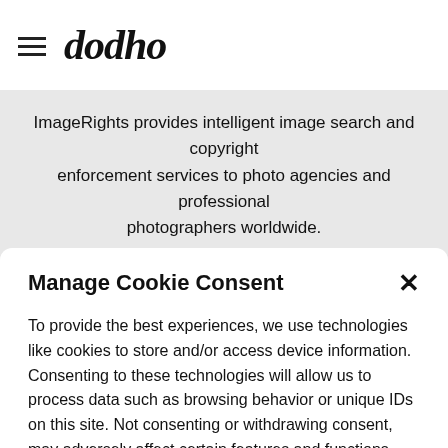dodho
ImageRights provides intelligent image search and copyright enforcement services to photo agencies and professional photographers worldwide.
MORE INFO
Manage Cookie Consent
To provide the best experiences, we use technologies like cookies to store and/or access device information. Consenting to these technologies will allow us to process data such as browsing behavior or unique IDs on this site. Not consenting or withdrawing consent, may adversely affect certain features and functions. More Info
Accept